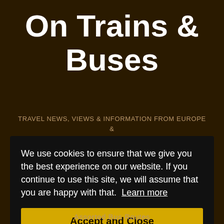On Trains & Buses
TRAVEL NEWS, VIEWS & INFORMATION FROM EUROPE & NORTH AMERICA BY AN INDEPENDENT PUBLIC TRANSPORT USER
We use cookies to ensure that we give you the best experience on our website. If you continue to use this site, we will assume that you are happy with that.  Learn more
Accept and Close
Assorted Bus Routes